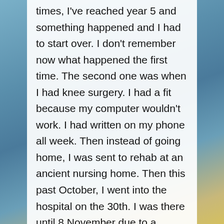times, I've reached year 5 and something happened and I had to start over. I don't remember now what happened the first time. The second one was when I had knee surgery. I had a fit because my computer wouldn't work. I had written on my phone all week. Then instead of going home, I was sent to rehab at an ancient nursing home. Then this past October, I went into the hospital on the 30th. I was there until 8 November due to a serious kidney infection and pneumonia. I had planned NaNo, I had a rough story layout, and I was going to hide my phone and turn it off so I'd avoid being sucked into the games I enjoy playing. I was working Sunday through Thursday and I missed a week and a day of work. Anyway I just wasn't able to